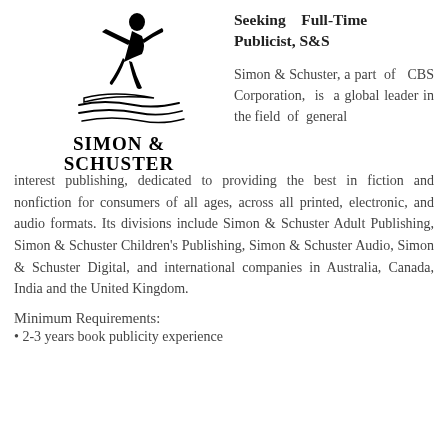[Figure (logo): Simon & Schuster logo: a man surfing/running on waves, with text SIMON & SCHUSTER below in bold serif capitals]
Seeking Full-Time Publicist, S&S
Simon & Schuster, a part of CBS Corporation, is a global leader in the field of general interest publishing, dedicated to providing the best in fiction and nonfiction for consumers of all ages, across all printed, electronic, and audio formats. Its divisions include Simon & Schuster Adult Publishing, Simon & Schuster Children's Publishing, Simon & Schuster Audio, Simon & Schuster Digital, and international companies in Australia, Canada, India and the United Kingdom.
Minimum Requirements:
2-3 years book publicity experience